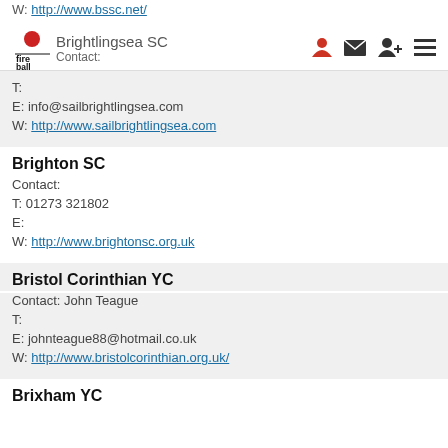W: http://www.bssc.net/
Brightlingsea SC - Contact:
T:
E: info@sailbrightlingsea.com
W: http://www.sailbrightlingsea.com
Brighton SC
Contact:
T: 01273 321802
E:
W: http://www.brightonsc.org.uk
Bristol Corinthian YC
Contact: John Teague
T:
E: johnteague88@hotmail.co.uk
W: http://www.bristolcorinthian.org.uk/
Brixham YC